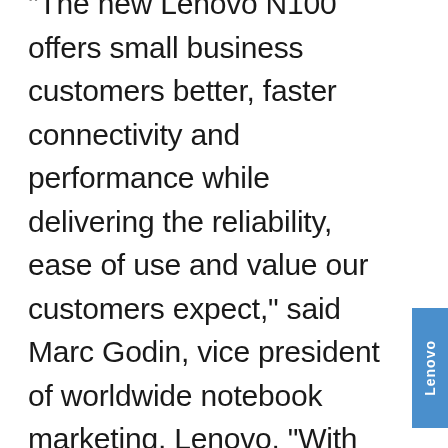“The new Lenovo N100 offers small business customers better, faster connectivity and performance while delivering the reliability, ease of use and value our customers expect,” said Marc Godin, vice president of worldwide notebook marketing, Lenovo. “With the increased performance of Intel’s latest processors, better wireless connectivity and Vista upgradeability, the new N100 combines great value and the latest features to give